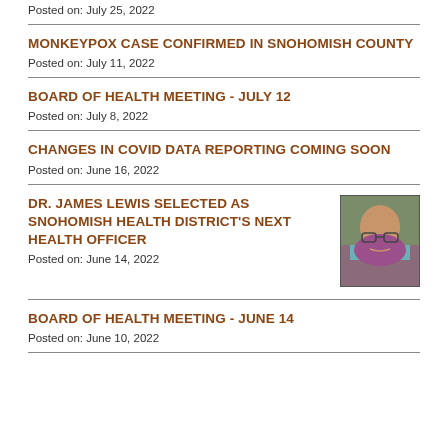Posted on: July 25, 2022
MONKEYPOX CASE CONFIRMED IN SNOHOMISH COUNTY
Posted on: July 11, 2022
BOARD OF HEALTH MEETING - JULY 12
Posted on: July 8, 2022
CHANGES IN COVID DATA REPORTING COMING SOON
Posted on: June 16, 2022
DR. JAMES LEWIS SELECTED AS SNOHOMISH HEALTH DISTRICT'S NEXT HEALTH OFFICER
[Figure (photo): Portrait photo of Dr. James Lewis, a man with glasses and a beard wearing a purple/magenta shirt]
Posted on: June 14, 2022
BOARD OF HEALTH MEETING - JUNE 14
Posted on: June 10, 2022